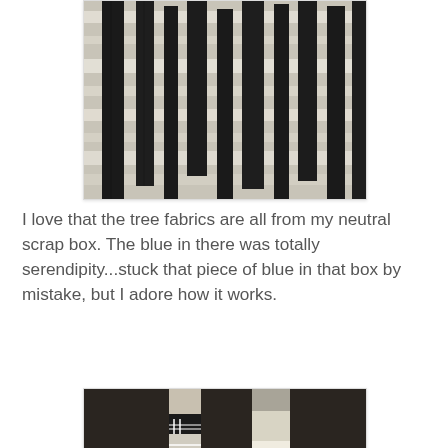[Figure (photo): Photo of black fabric strips arranged on a light neutral background, showing quilt pieces in progress]
I love that the tree fabrics are all from my neutral scrap box. The blue in there was totally serendipity...stuck that piece of blue in that box by mistake, but I adore how it works.
[Figure (photo): Close-up photo of two narrow patchwork tree trunk strips made from various neutral and patterned fabrics (plaid, polka dot, geometric, striped) set against a dark brown background]